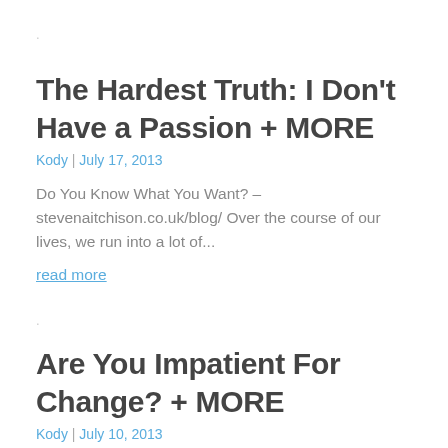.
The Hardest Truth: I Don't Have a Passion + MORE
Kody | July 17, 2013
Do You Know What You Want? – stevenaitchison.co.uk/blog/ Over the course of our lives, we run into a lot of...
read more
.
Are You Impatient For Change? + MORE
Kody | July 10, 2013
Are You Impatient For Change? – thechangeblog.com Photo by Jenavieve By Alison Ottaway Are you impatient